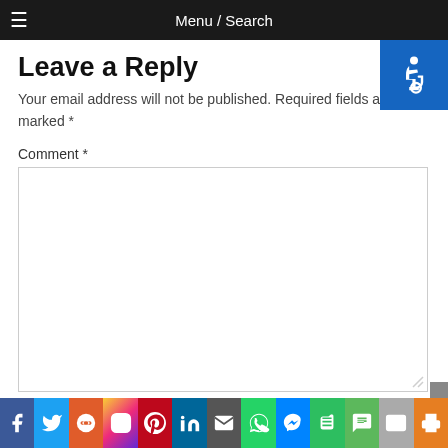Menu / Search
Leave a Reply
Your email address will not be published. Required fields are marked *
Comment *
[Figure (other): Comment text area input box]
Social sharing bar: Facebook, Twitter, Reddit, Instagram, Pinterest, LinkedIn, Email, WhatsApp, Messenger, Evernote, SMS, Mail, Print